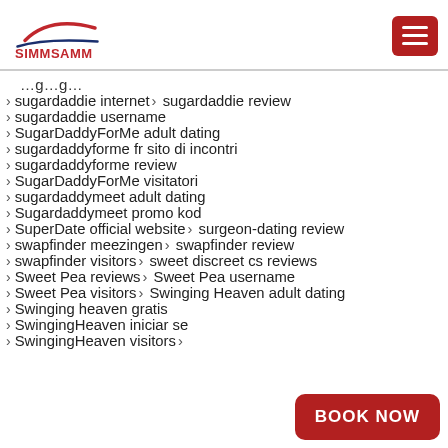SIMMSAMM
sugardaddie internet > sugardaddie review
sugardaddie username
SugarDaddyForMe adult dating
sugardaddyforme fr sito di incontri
sugardaddyforme review
SugarDaddyForMe visitatori
sugardaddymeet adult dating
Sugardaddymeet promo kod
SuperDate official website > surgeon-dating review
swapfinder meezingen > swapfinder review
swapfinder visitors > sweet discreet cs reviews
Sweet Pea reviews > Sweet Pea username
Sweet Pea visitors > Swinging Heaven adult dating
Swinging heaven gratis
SwingingHeaven iniciar se
SwingingHeaven visitors >